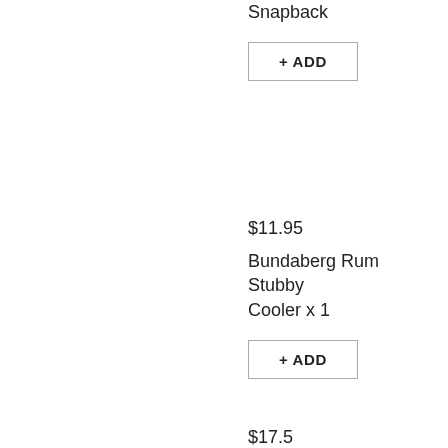Snapback
+ ADD
$11.95
Bundaberg Rum Stubby Cooler x 1
+ ADD
$17.50